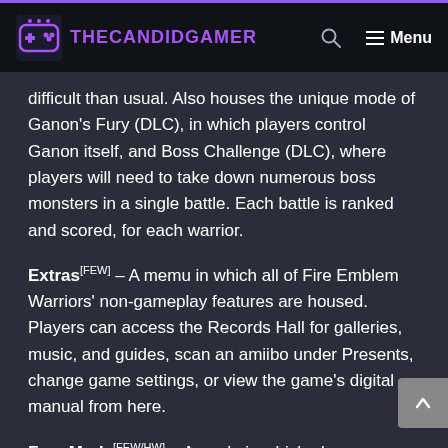THECANDIDGAMER
difficult than usual. Also houses the unique mode of Ganon's Fury (DLC), in which players control Ganon itself, and Boss Challenge (DLC), where players will need to take down numerous boss monsters in a single battle. Each battle is ranked and scored, for each warrior.
Extras[FEW] – A memu in which all of Fire Emblem Warriors' non-gameplay features are housed. Players can access the Records Hall for galleries, music, and guides, scan an amiibo under Presents, change game settings, or view the game's digital manual from here.
Free Mode[FEW/HW] – A mode in which players can play through the main campaign battles of both Hyrule Warriors and Fire Emblem Warriors